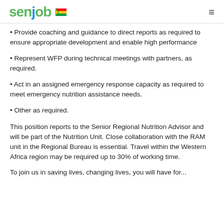senjob [Togo flag]
Provide coaching and guidance to direct reports as required to ensure appropriate development and enable high performance
Represent WFP during technical meetings with partners, as required.
Act in an assigned emergency response capacity as required to meet emergency nutrition assistance needs.
Other as required.
This position reports to the Senior Regional Nutrition Advisor and will be part of the Nutrition Unit. Close collaboration with the RAM unit in the Regional Bureau is essential. Travel within the Western Africa region may be required up to 30% of working time.
To join us in saving lives, changing lives, you will have for...